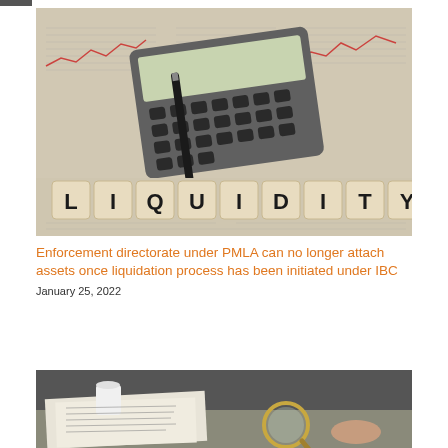[Figure (photo): Photo of wooden letter tiles spelling LIQUIDITY in front of a calculator and pen resting on financial newspaper with red stock charts]
Enforcement directorate under PMLA can no longer attach assets once liquidation process has been initiated under IBC
January 25, 2022
[Figure (photo): Photo of a person holding a magnifying glass over documents on a desk]